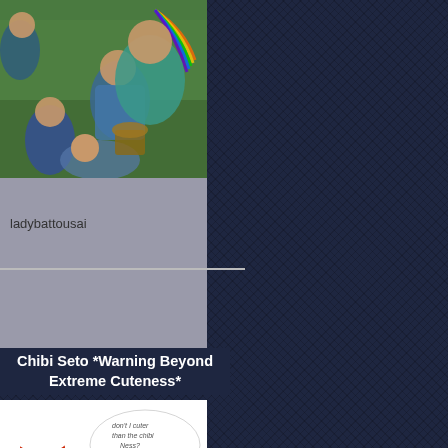[Figure (illustration): Anime group illustration with multiple characters in a forest/outdoor setting with a rainbow in the background]
ladybattousai
Chibi Seto *Warning Beyond Extreme Cuteness*
[Figure (illustration): Chibi anime characters dressed in Santa Claus outfits. One character holds a teddy bear. Speech bubble reads: 'don't I cuter than the chibi Ness?']